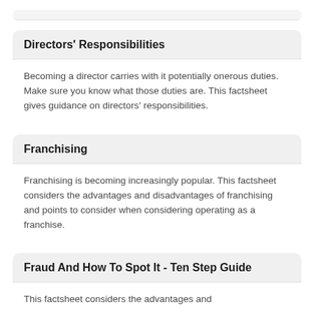Directors' Responsibilities
Becoming a director carries with it potentially onerous duties. Make sure you know what those duties are. This factsheet gives guidance on directors' responsibilities.
Franchising
Franchising is becoming increasingly popular. This factsheet considers the advantages and disadvantages of franchising and points to consider when considering operating as a franchise.
Fraud And How To Spot It - Ten Step Guide
This factsheet considers the advantages and...